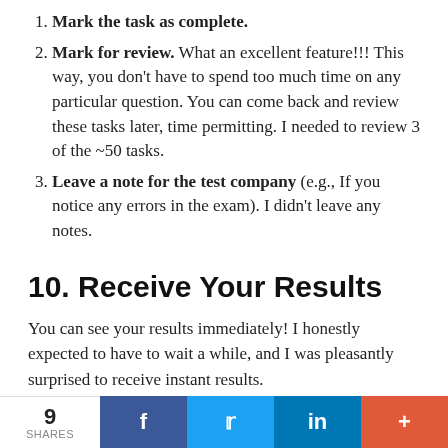Mark the task as complete.
Mark for review. What an excellent feature!!! This way, you don't have to spend too much time on any particular question. You can come back and review these tasks later, time permitting. I needed to review 3 of the ~50 tasks.
Leave a note for the test company (e.g., If you notice any errors in the exam). I didn't leave any notes.
10. Receive Your Results
You can see your results immediately! I honestly expected to have to wait a while, and I was pleasantly surprised to receive instant results.
9 SHARES  f  in  +